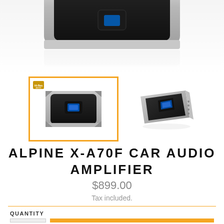[Figure (photo): Top view of Alpine X-A70F car audio amplifier, silver and black, partially cropped at top of page]
[Figure (photo): Selected thumbnail image of Alpine X-A70F amplifier (front view, black/silver) with orange border indicating selection, with small Hi-Res Audio badge in top-left corner]
[Figure (photo): Secondary thumbnail of Alpine X-A70F amplifier viewed at an angle]
ALPINE X-A70F CAR AUDIO AMPLIFIER
$899.00
Tax included.
QUANTITY